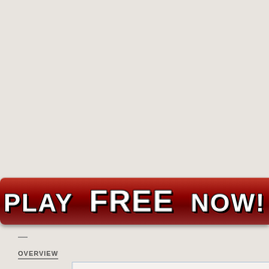PLAY FREE NOW!
| PUBLISHER: En Masse Entertainment |
| DEVELOPER: Naddic Games |
| GENRE: Fighting, MMORPG | THEME: Anime |
| PLATFORM: Download |
| STATUS: Final Feb 2018 (North America, Europe) |
OVERVIEW